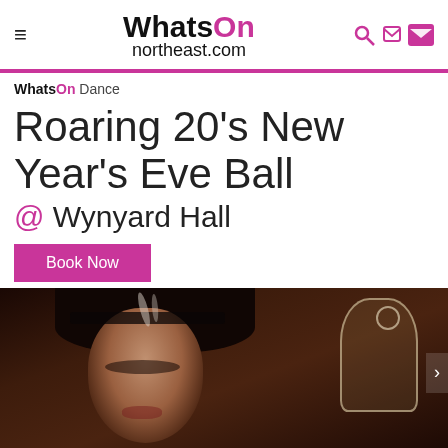WhatsOn northeast.com
WhatsOn Dance
Roaring 20's New Year's Eve Ball @ Wynyard Hall
Book Now
[Figure (photo): Woman in 1920s style headband and feathers holding a champagne glass, dark studio background]